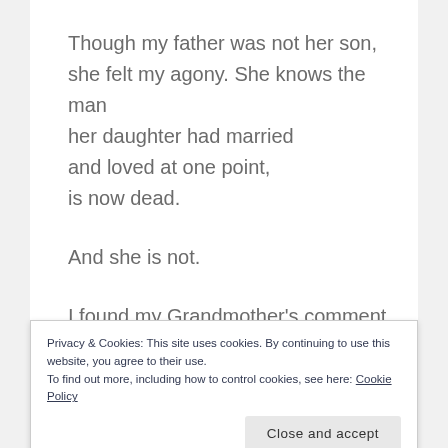Though my father was not her son,
she felt my agony. She knows the man
her daughter had married
and loved at one point,
is now dead.

And she is not.

I found my Grandmother's comment
to be oddly comforting.

Above my office window, stand three letters.
Privacy & Cookies: This site uses cookies. By continuing to use this website, you agree to their use.
To find out more, including how to control cookies, see here: Cookie Policy
Close and accept
to be hidden.